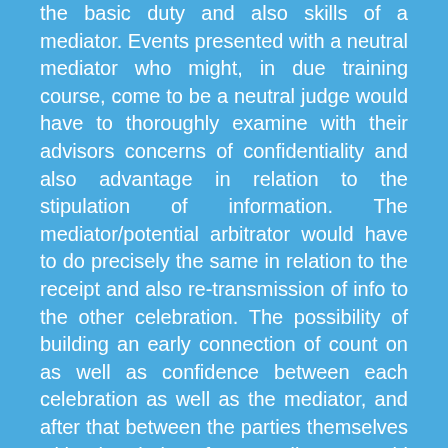the basic duty and also skills of a mediator. Events presented with a neutral mediator who might, in due training course, come to be a neutral judge would have to thoroughly examine with their advisors concerns of confidentiality and also advantage in relation to the stipulation of information. The mediator/potential arbitrator would have to do precisely the same in relation to the receipt and also re-transmission of info to the other celebration. The possibility of building an early connection of count on as well as confidence between each celebration as well as the mediator, and after that between the parties themselves with the help of a mediator, would certainly be damaged. As opposed to the mediation making up an informal process focused on the result of disagreement resolution by arrangement, it would